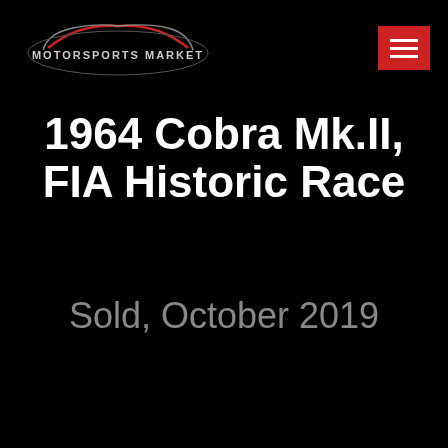MOTORSPORTS MARKET
1964 Cobra Mk.II, FIA Historic Race
Sold, October 2019